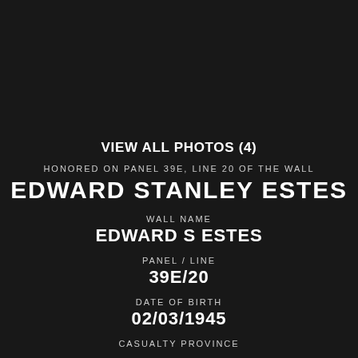VIEW ALL PHOTOS (4)
HONORED ON PANEL 39E, LINE 20 OF THE WALL
EDWARD STANLEY ESTES
WALL NAME
EDWARD S ESTES
PANEL / LINE
39E/20
DATE OF BIRTH
02/03/1945
CASUALTY PROVINCE